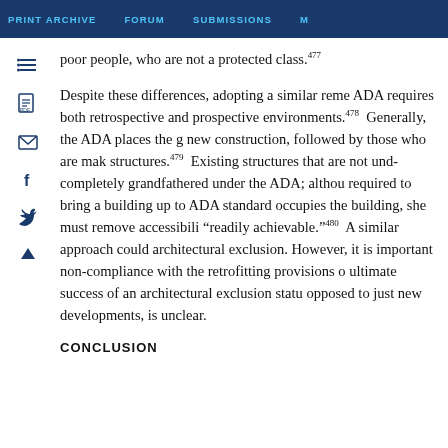PRINT ARCHIVE   FORUM   SUBMISSIONS   M
poor people, who are not a protected class.477
Despite these differences, adopting a similar reme... ADA requires both retrospective and prospective environments.478 Generally, the ADA places the g... new construction, followed by those who are mak... structures.479 Existing structures that are not und... completely grandfathered under the ADA; althou... required to bring a building up to ADA standard... occupies the building, she must remove accessibil... "readily achievable."480 A similar approach could... architectural exclusion. However, it is important... non-compliance with the retrofitting provisions o... ultimate success of an architectural exclusion statu... opposed to just new developments, is unclear.
CONCLUSION